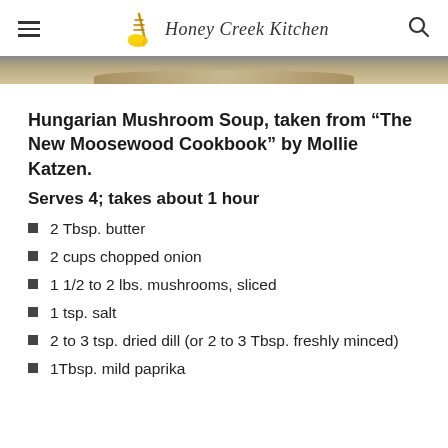Honey Creek Kitchen
[Figure (photo): Partial view of a bowl or pot of soup, cropped at top of content area]
Hungarian Mushroom Soup, taken from “The New Moosewood Cookbook” by Mollie Katzen.
Serves 4; takes about 1 hour
2 Tbsp. butter
2 cups chopped onion
1 1/2 to 2 lbs. mushrooms, sliced
1 tsp. salt
2 to 3 tsp. dried dill (or 2 to 3 Tbsp. freshly minced)
1Tbsp. mild paprika